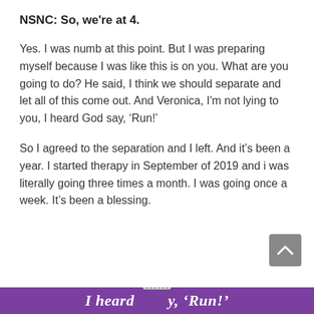NSNC: So, we're at 4.
Yes. I was numb at this point. But I was preparing myself because I was like this is on you. What are you going to do? He said, I think we should separate and let all of this come out. And Veronica, I'm not lying to you, I heard God say, 'Run!'
So I agreed to the separation and I left. And it's been a year. I started therapy in September of 2019 and i was literally going three times a month. I was going once a week. It's been a blessing.
I heard ... y, 'Run!'